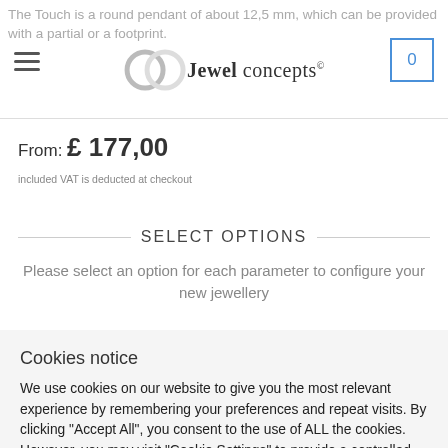The Touch is a round pendant of about 12,5 mm, which can be provided with a partial or a footprint.
From: £ 177,00
included VAT is deducted at checkout
SELECT OPTIONS
Please select an option for each parameter to configure your new jewellery
Cookies notice
We use cookies on our website to give you the most relevant experience by remembering your preferences and repeat visits. By clicking "Accept All", you consent to the use of ALL the cookies. However, you may visit "Cookie Settings" to provide a controlled consent.
Cookie Settings   Accept All